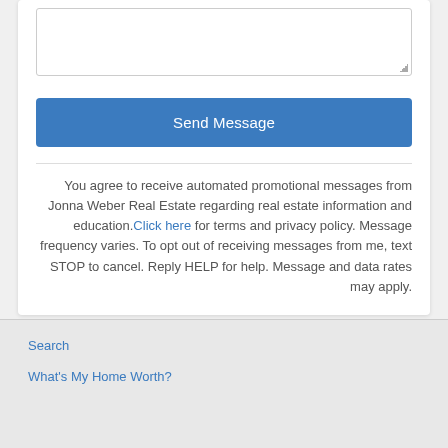[Figure (screenshot): A text area input field (empty) with resize handle in bottom-right corner]
Send Message
You agree to receive automated promotional messages from Jonna Weber Real Estate regarding real estate information and education.Click here for terms and privacy policy. Message frequency varies. To opt out of receiving messages from me, text STOP to cancel. Reply HELP for help. Message and data rates may apply.
Search
What's My Home Worth?